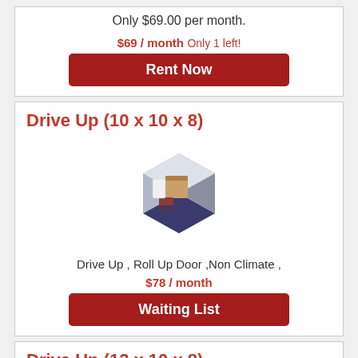Only $69.00 per month.
$69 / month  Only 1 left!
Rent Now
Drive Up (10 x 10 x 8)
[Figure (illustration): Isometric illustration of a storage unit with boxes and furniture inside a hexagonal cube shape]
Drive Up , Roll Up Door ,Non Climate ,
$78 / month
Waiting List
Drive Up (12 x 10 x 8)